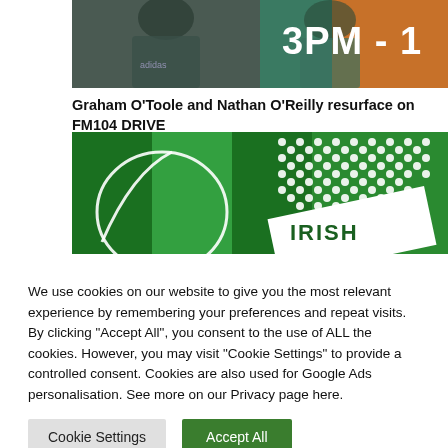[Figure (photo): Two people (Graham O'Toole and Nathan O'Reilly) with a '3PM -' graphic overlay on the right side, orange/red background]
Graham O'Toole and Nathan O'Reilly resurface on FM104 DRIVE
[Figure (photo): Green background image with white dotted microphone pattern and 'IRISH' text visible, Irish flag-style vertical stripes]
We use cookies on our website to give you the most relevant experience by remembering your preferences and repeat visits. By clicking "Accept All", you consent to the use of ALL the cookies. However, you may visit "Cookie Settings" to provide a controlled consent. Cookies are also used for Google Ads personalisation. See more on our Privacy page here.
Cookie Settings
Accept All